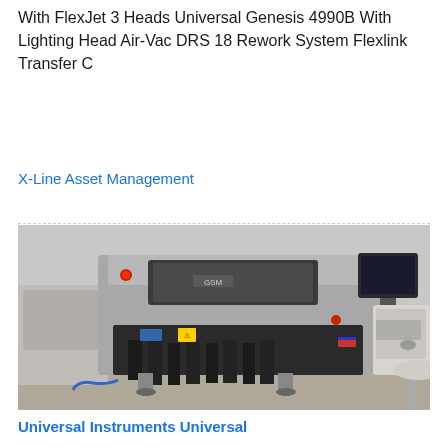With FlexJet 3 Heads Universal Genesis 4990B With Lighting Head Air-Vac DRS 18 Rework System Flexlink Transfer C
X-Line Asset Management
[Figure (photo): Industrial SMT pick-and-place machine (Universal Instruments) on a factory floor, shown from front-left angle. Machine is grey and black with a dark viewing window, monitor on right side, feeder carts with tape reels at front.]
Universal Instruments Universal